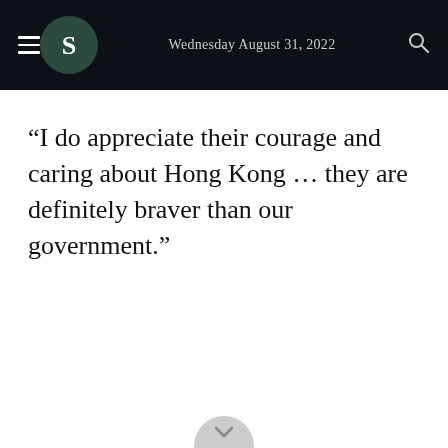Wednesday August 31, 2022
“I do appreciate their courage and caring about Hong Kong … they are definitely braver than our government.”